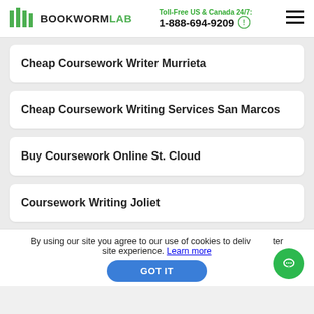BOOKWORMLAB | Toll-Free US & Canada 24/7: 1-888-694-9209
Cheap Coursework Writer Murrieta
Cheap Coursework Writing Services San Marcos
Buy Coursework Online St. Cloud
Coursework Writing Joliet
By using our site you agree to our use of cookies to deliver a better site experience. Learn more
GOT IT